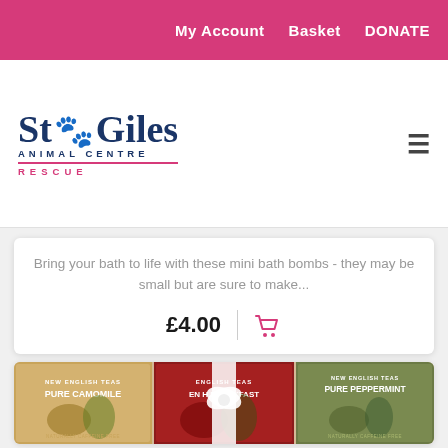My Account   Basket   DONATE
[Figure (logo): St Giles Animal Centre Rescue logo with paw print]
Bring your bath to life with these mini bath bombs - they may be small but are sure to make...
£4.00
[Figure (photo): Three New English Teas gift boxes (Pure Camomile, English Breakfast, Pure Peppermint) tied with a white ribbon bow]